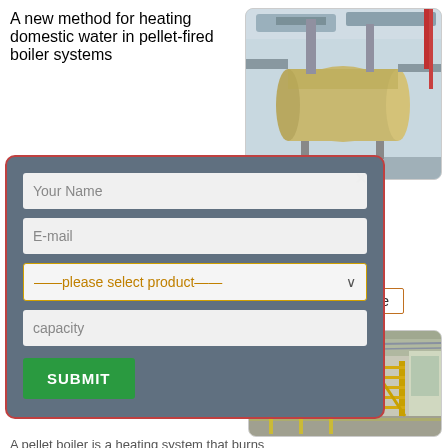A new method for heating domestic water in pellet-fired boiler systems
[Figure (photo): Industrial pellet-fired boiler system, horizontal cylindrical boiler with piping]
iilers are designed to some systems the n for several hours.
[Figure (screenshot): Modal contact form with fields: Your Name, E-mail, product selector, capacity, and SUBMIT button]
More
Wikipedia
[Figure (photo): Large industrial coal/pellet boiler system in a warehouse building with yellow metal stairs]
A pellet boiler is a heating system that burns